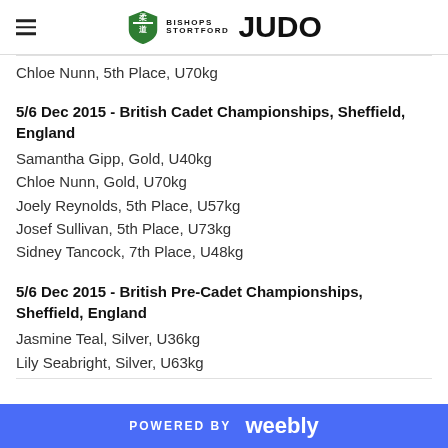Bishops Stortford Judo
Chloe Nunn, 5th Place, U70kg
5/6 Dec 2015 - British Cadet Championships, Sheffield, England
Samantha Gipp, Gold, U40kg
Chloe Nunn, Gold, U70kg
Joely Reynolds, 5th Place, U57kg
Josef Sullivan, 5th Place, U73kg
Sidney Tancock, 7th Place, U48kg
5/6 Dec 2015 - British Pre-Cadet Championships, Sheffield, England
Jasmine Teal, Silver, U36kg
Lily Seabright, Silver, U63kg
POWERED BY weebly